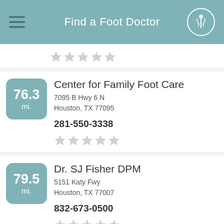Find a Foot Doctor
[Figure (screenshot): Mobile app listing page showing foot doctors with distance badges, address, phone, and star ratings]
Center for Family Foot Care
7095 B Hwy 6 N
Houston, TX 77095
281-550-3338
Dr. SJ Fisher DPM
5151 Katy Fwy
Houston, TX 77007
832-673-0500